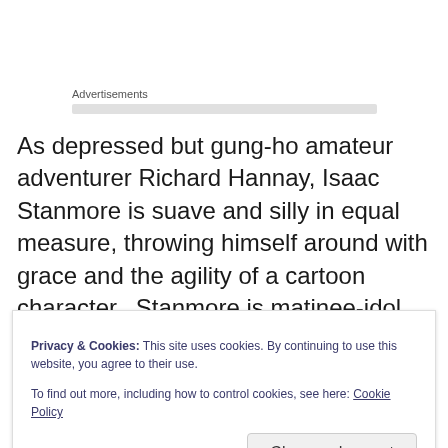Advertisements
As depressed but gung-ho amateur adventurer Richard Hannay, Isaac Stanmore is suave and silly in equal measure, throwing himself around with grace and the agility of a cartoon character.  Stanmore is matinee-idol charming and is immensely appealing.
But then, so is everyone else.  Rebecca Brewer delivers
Privacy & Cookies: This site uses cookies. By continuing to use this website, you agree to their use.
To find out more, including how to control cookies, see here: Cookie Policy
Close and accept
Brewer's comic timing is exquisite, perfectly parodying the